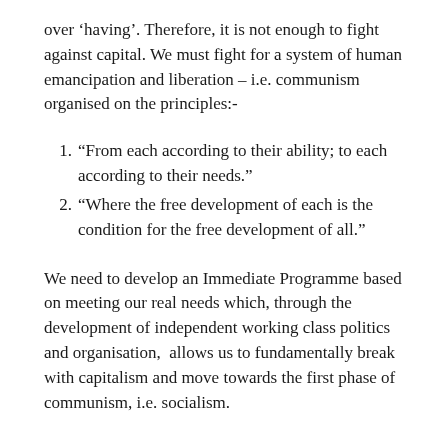over ‘having’. Therefore, it is not enough to fight against capital. We must fight for a system of human emancipation and liberation – i.e. communism organised on the principles:-
1. “From each according to their ability; to each according to their needs.”
2. “Where the free development of each is the condition for the free development of all.”
We need to develop an Immediate Programme based on meeting our real needs which, through the development of independent working class politics and organisation, allows us to fundamentally break with capitalism and move towards the first phase of communism, i.e. socialism.